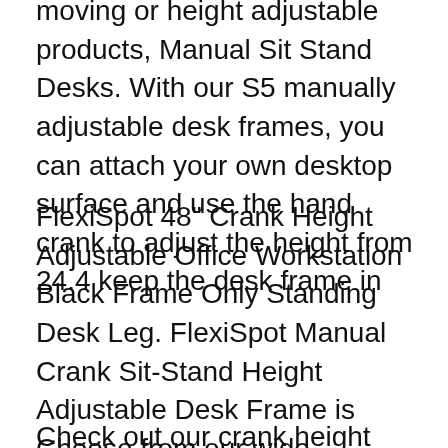moving or height adjustable products, Manual Sit Stand Desks. With our S5 manually adjustable desk frames, you can attach your own desktop surface and use the hand crank to adjust the height from 24.4 keep the desk frame in
FlexiSpot 48" Crank Height Adjustable Office Workstation Black Frame Only Standing Desk Leg. FlexiSpot Manual Crank Sit-Stand Height Adjustable Desk Frame is Choose from our wide selection of Sit & Stand Desks and These desks use pneumatic, electric or crank Motorized Height Adjustable Sit Stand Workstation,
Check out our crank height adjustable